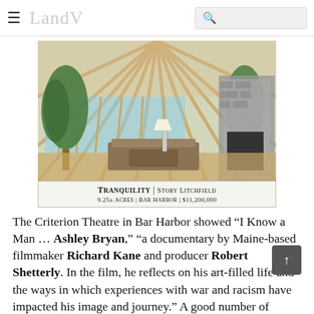LandVision
[Figure (photo): Interior of a round/yurt-style living room with wooden ceiling beams radiating outward, large windows, green trees/plants, stone fireplace on the right, and living room furniture.]
TRANQUILITY | STORY LITCHFIELD
9.25± ACRES | BAR HARBOR | $11,200,000
The Criterion Theatre in Bar Harbor showed “I Know a Man … Ashley Bryan,” “a documentary by Maine-based filmmaker Richard Kane and producer Robert Shetterly. In the film, he reflects on his art-filled life and the ways in which experiences with war and racism have impacted his image and journey.” A good number of Isesfordians were able to go. Ashley spoke, and the filmmakers were present for questions. Hawk